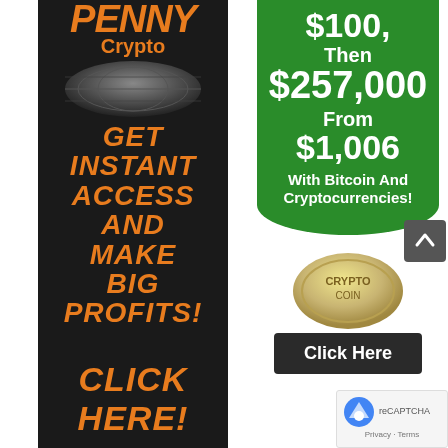[Figure (infographic): Left dark banner ad for Penny Crypto with orange text reading PENNY Crypto, GET INSTANT ACCESS AND MAKE BIG PROFITS!, CLICK HERE!]
[Figure (infographic): Right green banner ad showing $100, Then $257,000 From $1,006 With Bitcoin And Cryptocurrencies! with a Click Here button and a coin image below]